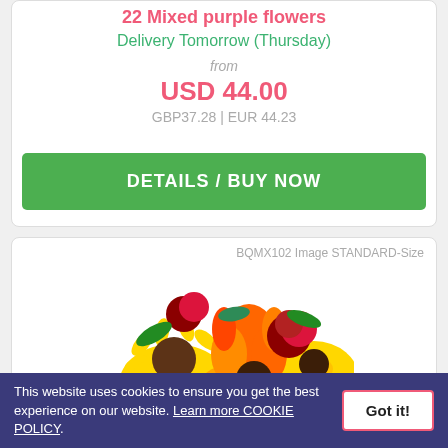22 Mixed purple flowers
Delivery Tomorrow (Thursday)
from
USD 44.00
GBP37.28 | EUR 44.23
DETAILS / BUY NOW
BQMX102 Image STANDARD-Size
[Figure (photo): Bouquet of mixed orange, yellow, red flowers including sunflowers, lilies, and roses]
This website uses cookies to ensure you get the best experience on our website. Learn more COOKIE POLICY. Got it!